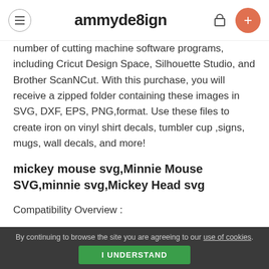ammydesign
number of cutting machine software programs, including Cricut Design Space, Silhouette Studio, and Brother ScanNCut. With this purchase, you will receive a zipped folder containing these images in SVG, DXF, EPS, PNG,format. Use these files to create iron on vinyl shirt decals, tumbler cup ,signs, mugs, wall decals, and more!
mickey mouse svg,Minnie Mouse SVG,minnie svg,Mickey Head svg
Compatibility Overview :
Silhouette Studio Basic (Free) Edition: DXF
Silhouette Studio Designer (Paid) Edition: SVG
Cricut Design Space: SVG
By continuing to browse the site you are agreeing to our use of cookies. I UNDERSTAND